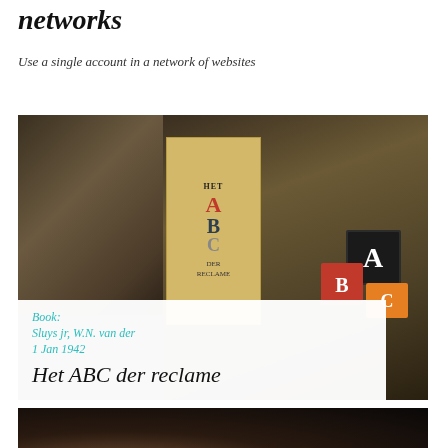networks
Use a single account in a network of websites
[Figure (photo): Person peering over a large yellow book titled 'Het ABC der Reclame', with alphabet building blocks visible on the right side. White overlay card at the bottom shows book metadata.]
Book:
Sluys jr, W.N. van der
1 Jan 1942
Het ABC der reclame
[Figure (photo): Blurred bokeh photo showing a person at a desk with colorful out-of-focus light spots in the background.]